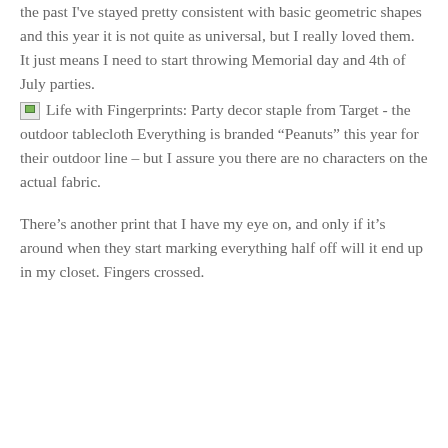the past I've stayed pretty consistent with basic geometric shapes and this year it is not quite as universal, but I really loved them. It just means I need to start throwing Memorial day and 4th of July parties.
[Figure (photo): Broken image icon for alt text: Life with Fingerprints: Party decor staple from Target - the outdoor tablecloth]
Life with Fingerprints: Party decor staple from Target - the outdoor tablecloth Everything is branded “Peanuts” this year for their outdoor line – but I assure you there are no characters on the actual fabric.
There’s another print that I have my eye on, and only if it’s around when they start marking everything half off will it end up in my closet. Fingers crossed.